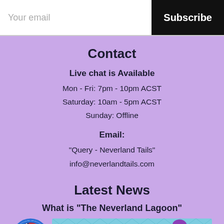Your email | Subscribe
Contact
Live chat is Available
Mon - Fri: 7pm - 10pm ACST
Saturday: 10am - 5pm ACST
Sunday: Offline
Email:
"Query - Neverland Tails"
info@neverlandtails.com
Latest News
What is "The Neverland Lagoon"
[Figure (illustration): Circular US flag icon with blue border and cartoon mermaid illustration below]